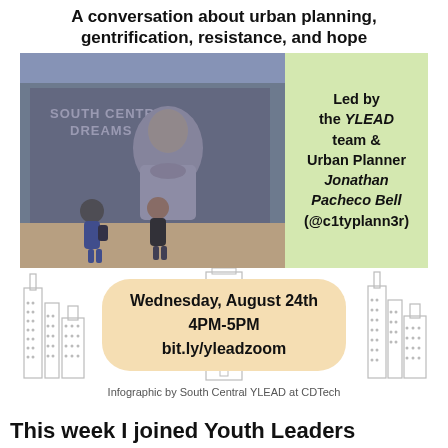A conversation about urban planning, gentrification, resistance, and hope
[Figure (photo): Mural of a woman in South Central Los Angeles ('South Central Dreams') with two people standing in front of it]
Led by the YLEAD team & Urban Planner Jonathan Pacheco Bell (@c1typlann3r)
[Figure (illustration): City skyline silhouette outline illustration in the background]
Wednesday, August 24th
4PM-5PM
bit.ly/yleadzoom
Infographic by South Central YLEAD at CDTech
This week I joined Youth Leaders